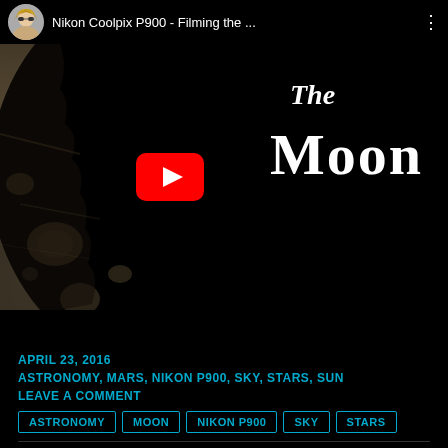[Figure (screenshot): YouTube video thumbnail showing a Nikon Coolpix P900 video titled 'Filming the Moon'. The thumbnail shows a close-up of the moon's surface (crescent, cratered, sepia-toned) on a black background, with the YouTube play button overlay in the center-left, the word 'The' in white italic text upper right, and 'Moon' in large bold white serif text below it. The video header shows a female avatar, the title 'Nikon Coolpix P900 - Filming the ...' and a three-dot menu icon.]
APRIL 23, 2016
ASTRONOMY, MARS, NIKON P900, SKY, STARS, SUN
LEAVE A COMMENT
ASTRONOMY   MOON   NIKON P900   SKY   STARS